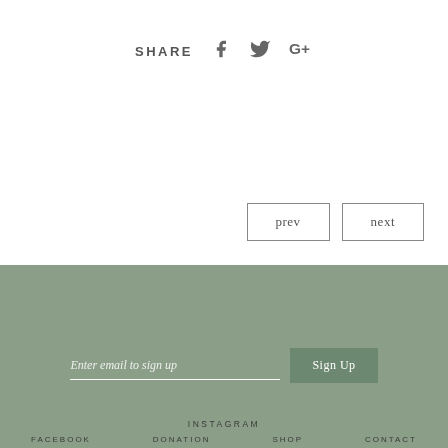SHARE  f  🐦  G+
prev
next
Enter email to sign up
Sign Up
INSTAGRAM  FACEBOOK  DONATION  SHOP  CONTACT